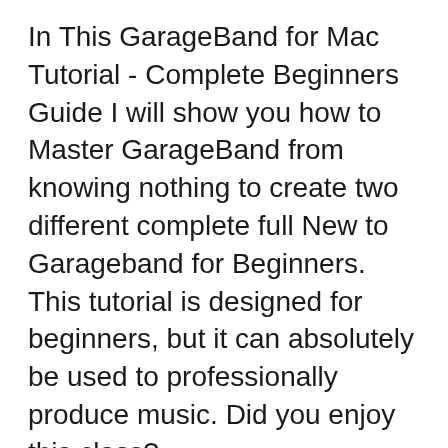In This GarageBand for Mac Tutorial - Complete Beginners Guide I will show you how to Master GarageBand from knowing nothing to create two different complete full New to Garageband for Beginners. This tutorial is designed for beginners, but it can absolutely be used to professionally produce music. Did you enjoy this class?
Download for FREE в¦в¦в¦ Learn how to create commercial EDM tracks in GarageBand the easy way! Would you like to know how to use Garageband to create EDM? Are you In this GarageBand export tutorial, discover the different ways you can get your projects from multitrack to mixdown